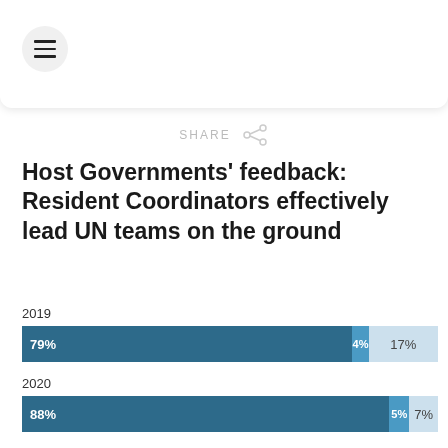Host Governments' feedback: Resident Coordinators effectively lead UN teams on the ground
[Figure (stacked-bar-chart): Host Governments' feedback: Resident Coordinators effectively lead UN teams on the ground]